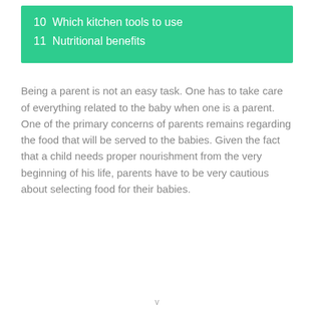10  Which kitchen tools to use
11  Nutritional benefits
Being a parent is not an easy task. One has to take care of everything related to the baby when one is a parent. One of the primary concerns of parents remains regarding the food that will be served to the babies. Given the fact that a child needs proper nourishment from the very beginning of his life, parents have to be very cautious about selecting food for their babies.
v